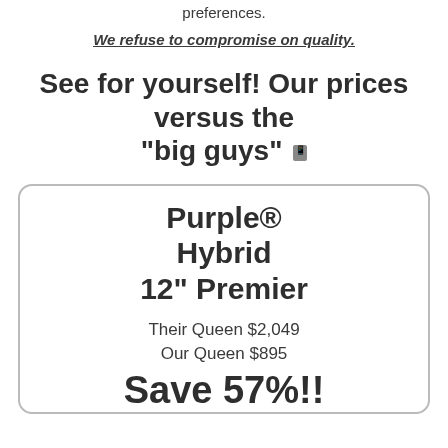preferences.
We refuse to compromise on quality.
See for yourself! Our prices versus the "big guys"
Purple® Hybrid 12" Premier
Their Queen $2,049
Our Queen $895
Save 57%!!